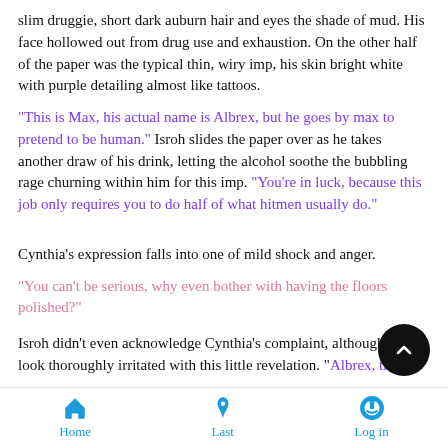slim druggie, short dark auburn hair and eyes the shade of mud. His face hollowed out from drug use and exhaustion. On the other half of the paper was the typical thin, wiry imp, his skin bright white with purple detailing almost like tattoos.
"This is Max, his actual name is Albrex, but he goes by max to pretend to be human." Isroh slides the paper over as he takes another draw of his drink, letting the alcohol soothe the bubbling rage churning within him for this imp. "You're in luck, because this job only requires you to do half of what hitmen usually do."
Cynthia's expression falls into one of mild shock and anger.
"You can't be serious, why even bother with having the floors polished?"
Isroh didn't even acknowledge Cynthia's complaint, although did look thoroughly irritated with this little revelation. "Albrex, the
Home  Last  Log in